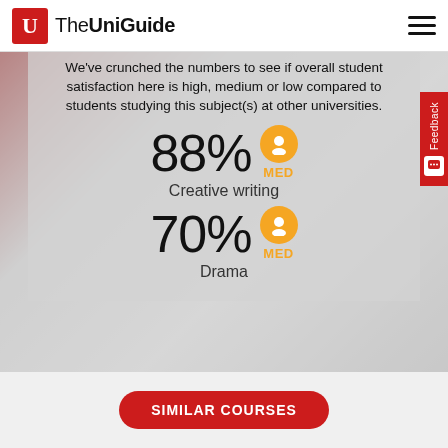The UniGuide
We've crunched the numbers to see if overall student satisfaction here is high, medium or low compared to students studying this subject(s) at other universities.
88% MED Creative writing
70% MED Drama
SIMILAR COURSES